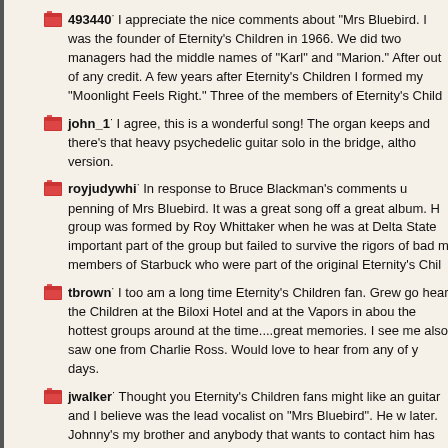493440: I appreciate the nice comments about "Mrs Bluebird. I was the founder of Eternity's Children in 1966. We did two managers had the middle names of "Karl" and "Marion." After out of any credit. A few years after Eternity's Children I formed my "Moonlight Feels Right." Three of the members of Eternity's Child
john_1: I agree, this is a wonderful song! The organ keeps and there's that heavy psychedelic guitar solo in the bridge, altho version.
royjudywhi: In response to Bruce Blackman's comments u penning of Mrs Bluebird. It was a great song off a great album. H group was formed by Roy Whittaker when he was at Delta State important part of the group but failed to survive the rigors of bad m members of Starbuck who were part of the original Eternity's Chil
tbrown: I too am a long time Eternity's Children fan. Grew go hear the Children at the Biloxi Hotel and at the Vapors in abou the hottest groups around at the time....great memories. I see me also saw one from Charlie Ross. Would love to hear from any of y days.
jwalker: Thought you Eternity's Children fans might like an guitar and I believe was the lead vocalist on "Mrs Bluebird". He w later. Johnny's my brother and anybody that wants to contact him has no internet access but I'm sure he'd like to hear from anybody feel free to post and date your messages and we'll see that he ge member of the Children, is and has been for many years a foundi Krackerjacks, a kick-ass band in Greenville, Mississippi, the home husband was also their keyboard player for several years.